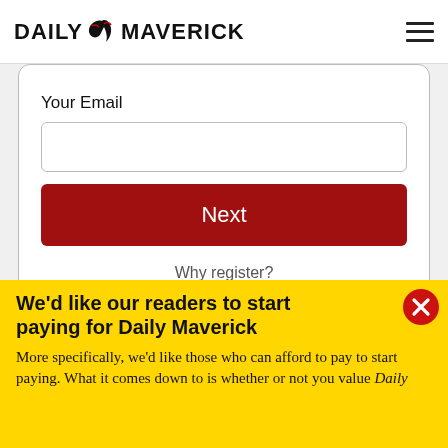DAILY MAVERICK
Your Email
Next
Why register?
We'd like our readers to start paying for Daily Maverick
More specifically, we'd like those who can afford to pay to start paying. What it comes down to is whether or not you value Daily